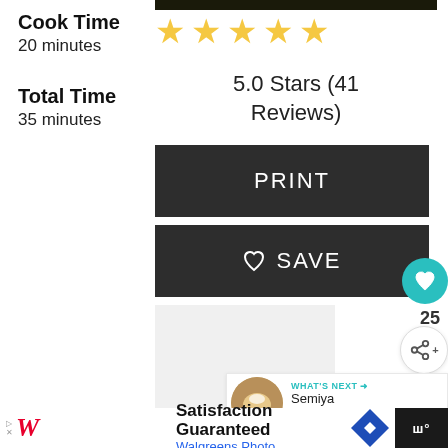Cook Time
20 minutes
Total Time
35 minutes
[Figure (other): 5 gold stars rating display]
5.0 Stars (41 Reviews)
PRINT
♡ SAVE
25
WHAT'S NEXT → Semiya Payasam...
Satisfaction Guaranteed Walgreens Photo